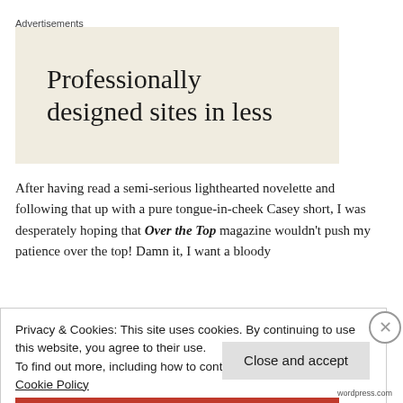Advertisements
[Figure (other): Advertisement banner with beige/cream background showing text: 'Professionally designed sites in less']
After having read a semi-serious lighthearted novelette and following that up with a pure tongue-in-cheek Casey short, I was desperately hoping that Over the Top magazine wouldn't push my patience over the top! Damn it, I want a bloody
Privacy & Cookies: This site uses cookies. By continuing to use this website, you agree to their use.
To find out more, including how to control cookies, see here: Cookie Policy
Close and accept